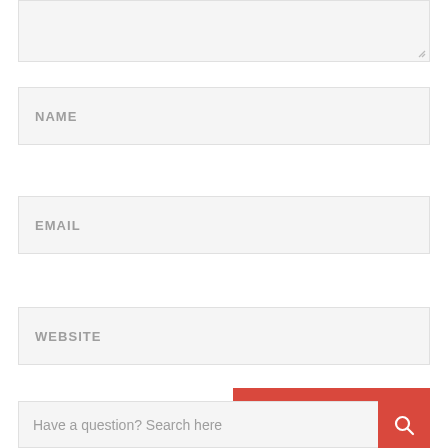[Figure (screenshot): Textarea input field (partially visible, top of page)]
NAME
EMAIL
WEBSITE
Post Comments
Have a question? Search here